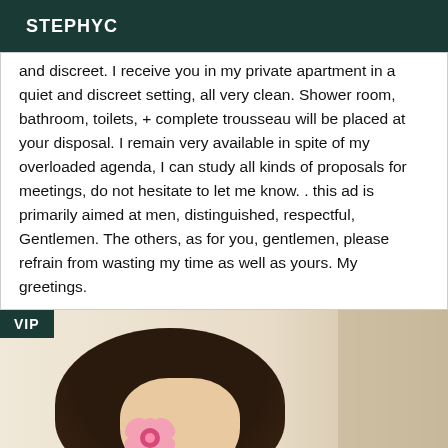STEPHYC
and discreet. I receive you in my private apartment in a quiet and discreet setting, all very clean. Shower room, bathroom, toilets, + complete trousseau will be placed at your disposal. I remain very available in spite of my overloaded agenda, I can study all kinds of proposals for meetings, do not hesitate to let me know. . this ad is primarily aimed at men, distinguished, respectful, Gentlemen. The others, as for you, gentlemen, please refrain from wasting my time as well as yours. My greetings.
[Figure (photo): Photo of a person with dark hair holding a pink flower mask over their face, in a light-colored room. VIP badge in top-left corner.]